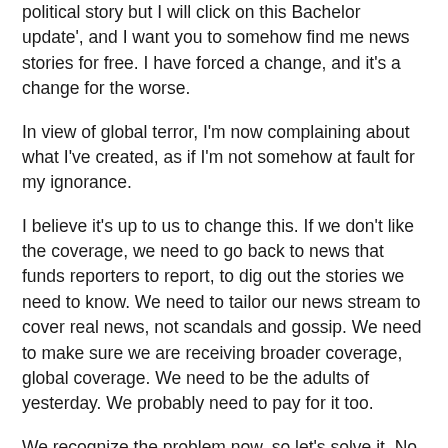political story but I will click on this Bachelor update', and I want you to somehow find me news stories for free. I have forced a change, and it's a change for the worse.
In view of global terror, I'm now complaining about what I've created, as if I'm not somehow at fault for my ignorance.
I believe it's up to us to change this. If we don't like the coverage, we need to go back to news that funds reporters to report, to dig out the stories we need to know. We need to tailor our news stream to cover real news, not scandals and gossip. We need to make sure we are receiving broader coverage, global coverage. We need to be the adults of yesterday. We probably need to pay for it too.
We recognize the problem now, so let's solve it. No news is not necessarily good news. Not now.
Linking with #WWU and #TIK
Both the movie and series mentioned above are worth a watch (in my opinion) - available here (the links are to JRHIEI